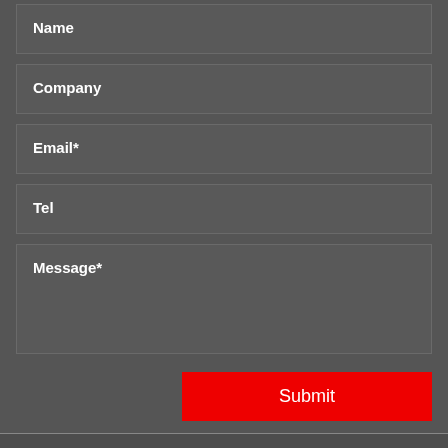Name
Company
Email*
Tel
Message*
Submit
Copyright 2021 Luoyang Haiside Heavy industry Co.,Ltd. Powered by - ShangXian